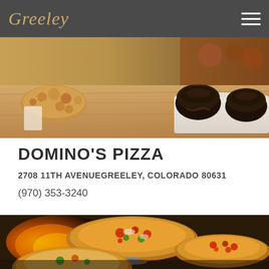Greeley
[Figure (photo): Food photo showing breaded chicken pieces and chocolate lava cake desserts on a wooden table]
DOMINO'S PIZZA
2708 11TH AVENUEGREELEY, COLORADO 80631
(970) 353-3240
[Figure (photo): Three pizzas on metal trays staged in front of a wood-fired oven with flames visible in the background]